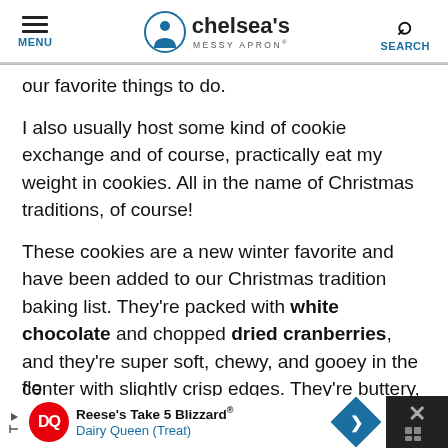MENU | chelsea's MESSY APRON® | SEARCH
our favorite things to do.
I also usually host some kind of cookie exchange and of course, practically eat my weight in cookies. All in the name of Christmas traditions, of course!
These cookies are a new winter favorite and have been added to our Christmas tradition baking list. They're packed with white chocolate and chopped dried cranberries, and they're super soft, chewy, and gooey in the center with slightly crisp edges. They're buttery, sugary, and ever-so-slightly
[Figure (screenshot): Dairy Queen advertisement banner at the bottom: Reese's Take 5 Blizzard® - Dairy Queen (Treat) with DQ logo and navigation arrow icon]